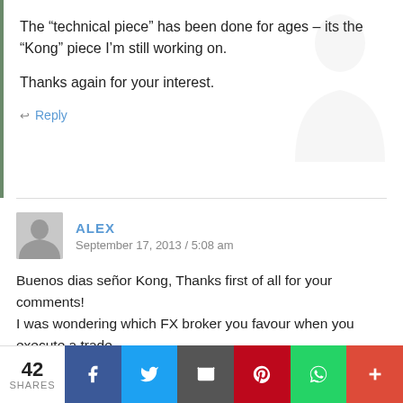The “technical piece” has been done for ages – its the “Kong” piece I’m still working on.
Thanks again for your interest.
↩ Reply
ALEX
September 17, 2013 / 5:08 am
Buenos dias señor Kong, Thanks first of all for your comments!
I was wondering which FX broker you favour when you execute a trade.
Cheers,
un monito de la vieja Albion
42 SHARES